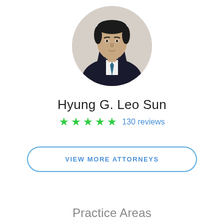[Figure (photo): Headshot photo of attorney Hyung G. Leo Sun, a man in a dark suit with a blue tie, displayed in a circular crop]
Hyung G. Leo Sun
★★★★★ 130 reviews
VIEW MORE ATTORNEYS
Practice Areas